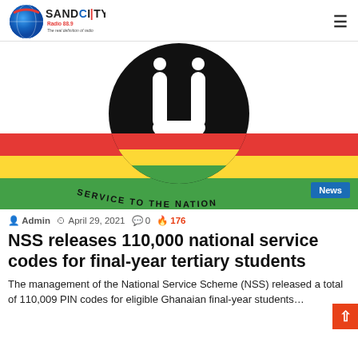SANDCITY Radio 88.9 The real definition of radio
[Figure (logo): NSS (National Service Scheme) logo — black circle with stylized U and dots, colored stripes red yellow green, text SERVICE TO THE NATION]
Admin   April 29, 2021   0   176
NSS releases 110,000 national service codes for final-year tertiary students
The management of the National Service Scheme (NSS) released a total of 110,009 PIN codes for eligible Ghanaian final-year students…